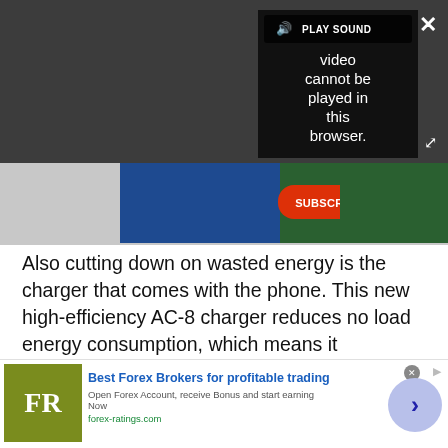[Figure (screenshot): Video player showing error message 'Video cannot be played in this browser. (Error Cod' with PLAY SOUND button, close X button, and expand icon, on dark gray background. Below is a Sonic the Hedgehog game advertisement banner with 'SUBSCRIBE TODAY!' button on green background with pencils/school supplies imagery.]
Also cutting down on wasted energy is the charger that comes with the phone. This new high-efficiency AC-8 charger reduces no load energy consumption, which means it minimises the amount of energy used if it's accidentally left plugged in after your phone's been charged.
[Figure (screenshot): Advertisement for Best Forex Brokers for profitable trading. Shows FR logo in olive/yellow-green square, headline 'Best Forex Brokers for profitable trading' in blue bold, subtext 'Open Forex Account, receive Bonus and start earning Now', URL 'forex-ratings.com' in green, and a blue/purple circle with right-pointing chevron arrow.]